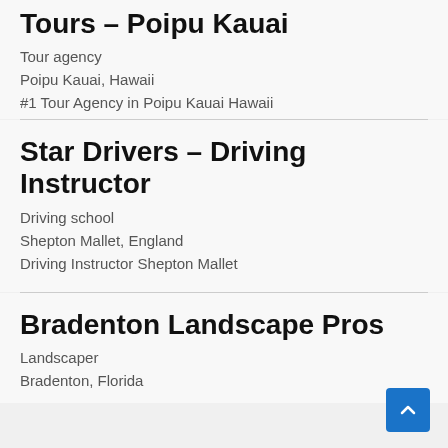Tours – Poipu Kauai
Tour agency
Poipu Kauai, Hawaii
#1 Tour Agency in Poipu Kauai Hawaii
Star Drivers – Driving Instructor
Driving school
Shepton Mallet, England
Driving Instructor Shepton Mallet
Bradenton Landscape Pros
Landscaper
Bradenton, Florida